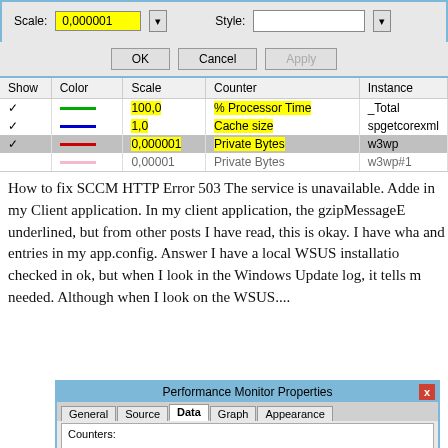[Figure (screenshot): Windows Performance Monitor counter properties dialog showing Scale field with value 0,000001 highlighted in yellow, Style dropdown, and OK/Cancel/Apply buttons]
| Show | Color | Scale | Counter | Instance |
| --- | --- | --- | --- | --- |
| ✓ | green line | 100,0 | % Processor Time | _Total |
| ✓ | blue line | 1,0 | Cache size | spgetcorexml |
| ✓ | red line | 0,000001 | Private Bytes | w3wp |
|  | pink line | 0,00001 | Private Bytes | w3wp#1 |
How to fix SCCM HTTP Error 503 The service is unavailable. Added in my Client application. In my client application, the gzipMessageE underlined, but from other posts I have read, this is okay. I have wha and entries in my app.config. Answer I have a local WSUS installatio checked in ok, but when I look in the Windows Update log, it tells m needed. Although when I look on the WSUS....
[Figure (screenshot): Performance Monitor Properties dialog with tabs: General, Source, Data (active), Graph, Appearance. Shows Counters section at bottom.]